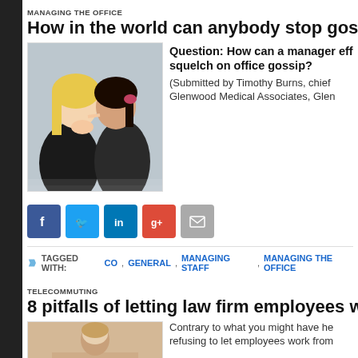MANAGING THE OFFICE
How in the world can anybody stop goss
[Figure (photo): Two women whispering, one covering mouth in surprise — office gossip scene]
Question: How can a manager eff squelch on office gossip? (Submitted by Timothy Burns, chief Glenwood Medical Associates, Glen
[Figure (infographic): Social sharing buttons: Facebook, Twitter, LinkedIn, Google+, Email]
TAGGED WITH: CO, GENERAL, MANAGING STAFF, MANAGING THE OFFICE
TELECOMMUTING
8 pitfalls of letting law firm employees w
[Figure (photo): Person working remotely — telecommuting article image]
Contrary to what you might have he refusing to let employees work from